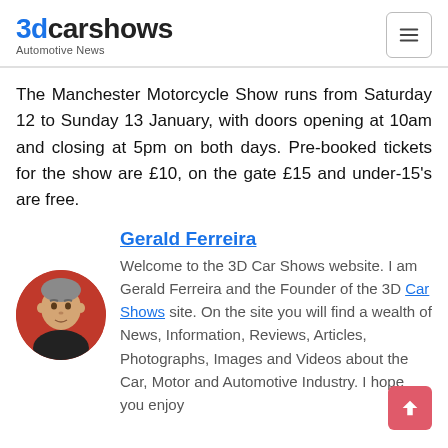3dcarshows Automotive News
The Manchester Motorcycle Show runs from Saturday 12 to Sunday 13 January, with doors opening at 10am and closing at 5pm on both days. Pre-booked tickets for the show are £10, on the gate £15 and under-15's are free.
Gerald Ferreira
Welcome to the 3D Car Shows website. I am Gerald Ferreira and the Founder of the 3D Car Shows site. On the site you will find a wealth of News, Information, Reviews, Articles, Photographs, Images and Videos about the Car, Motor and Automotive Industry. I hope you enjoy
[Figure (photo): Circular portrait photo of Gerald Ferreira, a middle-aged man with grey hair wearing a dark jacket, against a red background.]